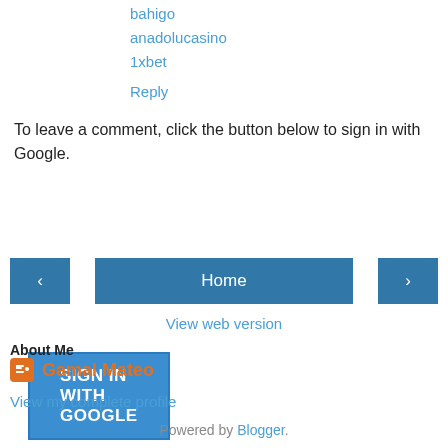bahigo
anadolucasino
1xbet
Reply
To leave a comment, click the button below to sign in with Google.
[Figure (other): SIGN IN WITH GOOGLE button]
[Figure (other): Navigation buttons: left arrow, Home, right arrow]
View web version
About Me
Gamal Mateo
View my complete profile
Powered by Blogger.